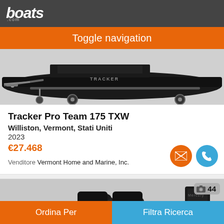[Figure (logo): boats.com logo in white italic text on dark gray background header]
Toggle navigation
[Figure (photo): Tracker boat on a trailer, side view showing the hull, wheels, and trailer hitch on a gray background]
Tracker Pro Team 175 TXW
Williston, Vermont, Stati Uniti
2023
€27.468
Venditore Vermont Home and Marine, Inc.
[Figure (photo): Second boat listing preview image, partially visible, showing two black seats and a Mercury outboard motor at the bottom of the page]
44
Ordina Per
Filtra Ricerca